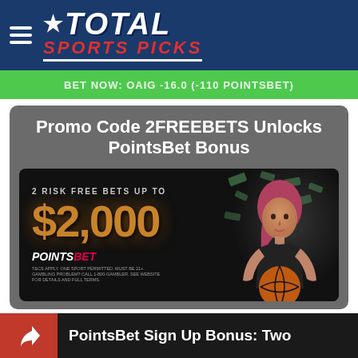Total Sports Picks
BET NOW: OAIG -16.0 (-110 POINTSBET)
Promo Code 2FREEBETS Unlocks PointsBet Bonus
[Figure (photo): PointsBet promotional banner showing '2 Risk Free Bets Up To $2,000' with a woman holding a basketball and money falling in the background. PointsBet logo visible at the bottom left.]
PointsBet Sign Up Bonus: Two